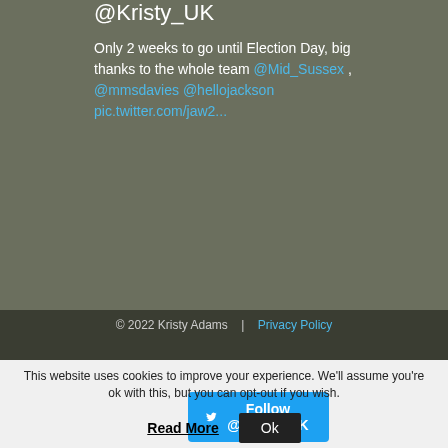@Kristy_UK
Only 2 weeks to go until Election Day, big thanks to the whole team @Mid_Sussex , @mmsdavies @hellojackson pic.twitter.com/jaw2...
Follow @Kristy_UK
© 2022 Kristy Adams  |  Privacy Policy
This website uses cookies to improve your experience. We'll assume you're ok with this, but you can opt-out if you wish.
Read More   Ok